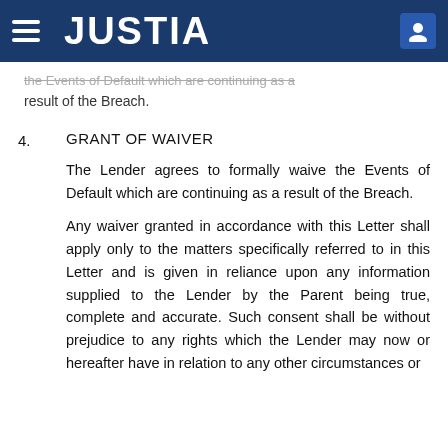JUSTIA
the Events of Default which are continuing as a result of the Breach.
4.  GRANT OF WAIVER
The Lender agrees to formally waive the Events of Default which are continuing as a result of the Breach.
Any waiver granted in accordance with this Letter shall apply only to the matters specifically referred to in this Letter and is given in reliance upon any information supplied to the Lender by the Parent being true, complete and accurate. Such consent shall be without prejudice to any rights which the Lender may now or hereafter have in relation to any other circumstances or